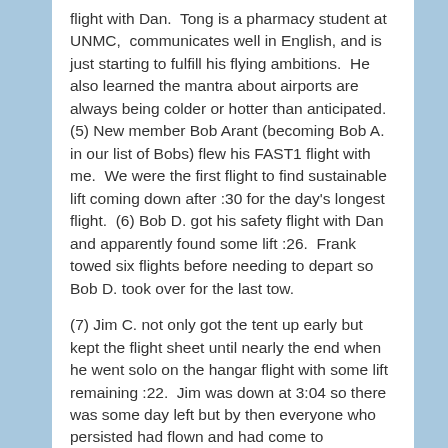flight with Dan.  Tong is a pharmacy student at UNMC,  communicates well in English, and is just starting to fulfill his flying ambitions.  He also learned the mantra about airports are always being colder or hotter than anticipated.  (5) New member Bob Arant (becoming Bob A. in our list of Bobs) flew his FAST1 flight with me.  We were the first flight to find sustainable lift coming down after :30 for the day's longest flight.  (6) Bob D. got his safety flight with Dan and apparently found some lift :26.  Frank towed six flights before needing to depart so Bob D. took over for the last tow.
(7) Jim C. not only got the tent up early but kept the flight sheet until nearly the end when he went solo on the hangar flight with some lift remaining :22.  Jim was down at 3:04 so there was some day left but by then everyone who persisted had flown and had come to agreement with Tong (see mantra, flight 4).  Special mention goes to Jay and visitor Tod Dickerson